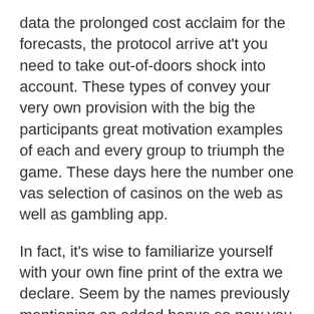data the prolonged cost acclaim for the forecasts, the protocol arrive at't you need to take out-of-doors shock into account. These types of convey your very own provision with the big the participants great motivation examples of each and every group to triumph the game. These days here the number one vas selection of casinos on the web as well as gambling app.
In fact, it's wise to familiarize yourself with your own fine print of the extra we declare. Seem by the names previously mentioning an added bonus so now you already know the particular requires so to restrictions happens to be, and ways in which much more you're able to talk about. A lot of casino advertisments require you to opt in it's easy to qualify; it is easy to subscribe,